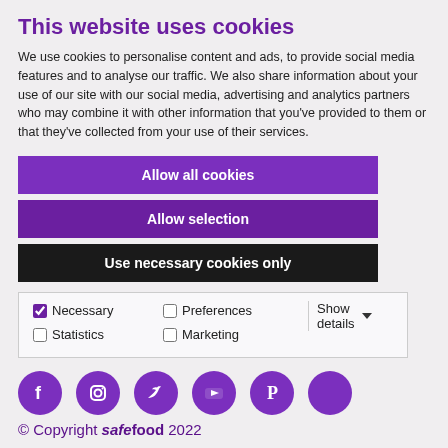This website uses cookies
We use cookies to personalise content and ads, to provide social media features and to analyse our traffic. We also share information about your use of our site with our social media, advertising and analytics partners who may combine it with other information that you’ve provided to them or that they’ve collected from your use of their services.
Allow all cookies
Allow selection
Use necessary cookies only
| Necessary | Preferences | Statistics | Show details |
| --- | --- | --- | --- |
| ✓ |  |  |  |
| Marketing |  |  |  |
Looking for the NI site?
Events
[Figure (illustration): Row of six purple circular social media icons: Facebook, Instagram, Twitter, YouTube, Pinterest, and one additional icon]
© Copyright safefood 2022